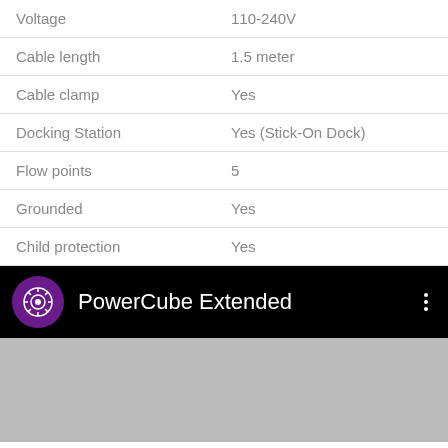| Property | Value |
| --- | --- |
| Voltage | 110-240V |
| Cable length | 1.5 meter |
| Cable clamp | Yes |
| Docking Station | Yes (Stick-On Dock) |
| Flow points | 5 |
| Grounded | Yes |
| Child protection | Yes |
[Figure (screenshot): App bar with purple circular logo icon, text 'PowerCube Extended' in white on black background, with three vertical dots menu on the right]